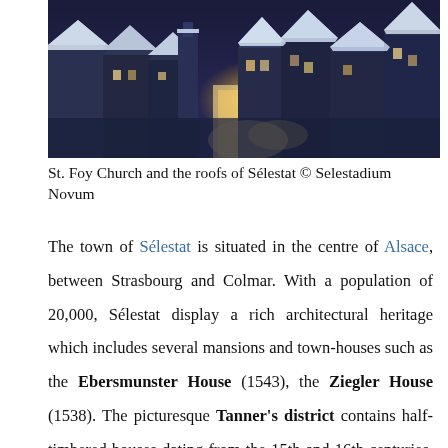[Figure (photo): Aerial/panoramic photo of St. Foy Church and the snow-covered roofs of Sélestat at night with warm street lighting]
St. Foy Church and the roofs of Sélestat © Selestadium Novum
The town of Sélestat is situated in the centre of Alsace, between Strasbourg and Colmar. With a population of 20,000, Sélestat display a rich architectural heritage which includes several mansions and town-houses such as the Ebersmunster House (1543), the Ziegler House (1538). The picturesque Tanner's district contains half-timbered houses dating from the 15th and 16th centuries. Sélestat houses two magnificent churches: the Romanesque église Sainte Foy and its three bell